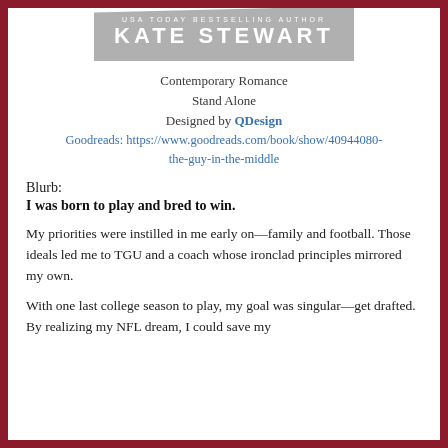[Figure (illustration): Gray banner/ribbon graphic with 'USA TODAY BESTSELLING AUTHOR' in small spaced caps and 'KATE STEWART' in large bold spaced caps, white text on gray background, angled top edge]
Contemporary Romance
Stand Alone
Designed by QDesign
Goodreads: https://www.goodreads.com/book/show/40944080-the-guy-in-the-middle
Blurb:
I was born to play and bred to win.
My priorities were instilled in me early on—family and football. Those ideals led me to TGU and a coach whose ironclad principles mirrored my own.
With one last college season to play, my goal was singular—get drafted. By realizing my NFL dream, I could save my